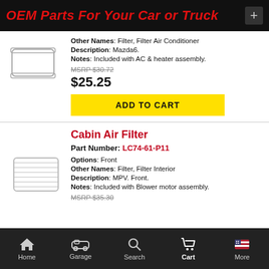OEM Parts For Your Car or Truck
Other Names: Filter, Filter Air Conditioner
Description: Mazda6.
Notes: Included with AC & heater assembly.
MSRP $30.72
$25.25
ADD TO CART
Cabin Air Filter
Part Number: LC74-61-P11
Options: Front
Other Names: Filter, Filter Interior
Description: MPV. Front.
Notes: Included with Blower motor assembly.
MSRP $35.30
Home  Garage  Search  Cart  More